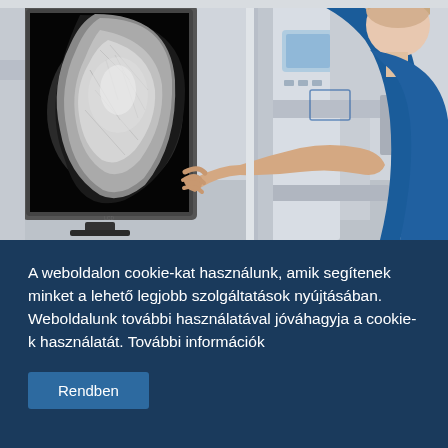[Figure (photo): A medical professional in blue scrubs viewing a mammography X-ray image on a diagnostic monitor, with mammography machine equipment visible in the background.]
A weboldalon cookie-kat használunk, amik segítenek minket a lehető legjobb szolgáltatások nyújtásában. Weboldalunk további használatával jóváhagyja a cookie-k használatát. További információk
Rendben